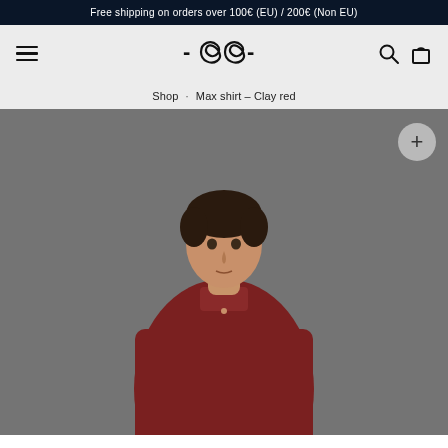Free shipping on orders over 100€ (EU) / 200€ (Non EU)
[Figure (screenshot): Website navigation bar with hamburger menu icon on left, brand logo in center (stylized rope knot with -cc- text), search icon and cart/bag icon on right, on light gray background]
Shop · Max shirt – Clay red
[Figure (photo): Man wearing a clay red button-up shirt with mandarin collar, dark hair, photographed against a gray background. A zoom/expand button with a plus sign is visible in the top right corner of the image area.]